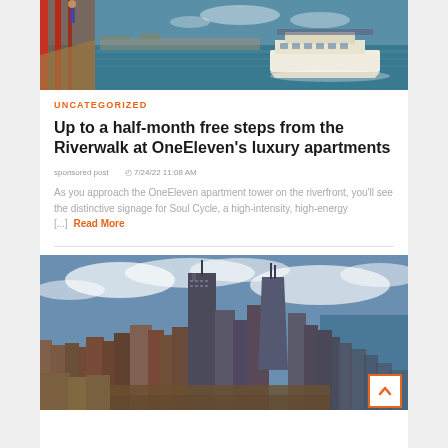[Figure (photo): Photo of a riverfront scene with a ferry boat on the water and a red bridge railing in the foreground]
UNCATEGORIZED
Up to a half-month free steps from the Riverwalk at OneEleven's luxury apartments
sponsored post   🕐 7/24/22 11:08 AM
As you approach the OneEleven apartment tower on the riverfront, you'll see the distinctive signage for Soul Cycle, a high-intensity, high-energy [...] Read More
[Figure (photo): Aerial photo of Chicago skyline with skyscrapers including the Willis Tower and Lake Michigan in the background]